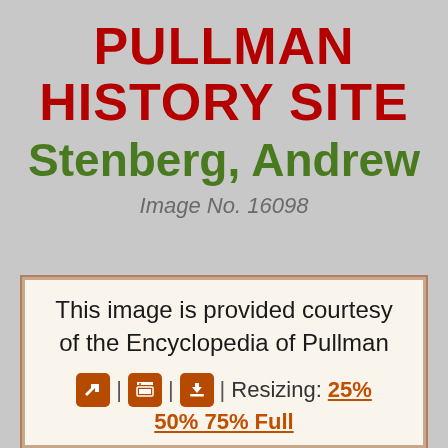PULLMAN HISTORY SITE
Stenberg, Andrew
Image No. 16098
This image is provided courtesy of the Encyclopedia of Pullman
| | | Resizing: 25% 50% 75% Full